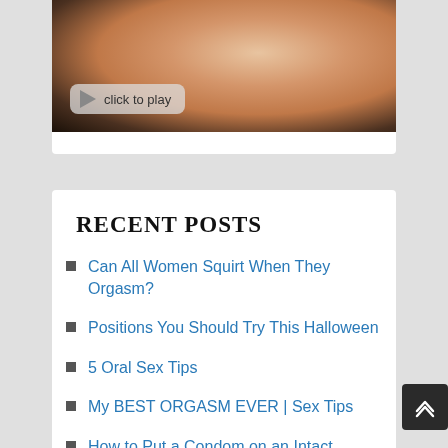[Figure (photo): Partial view of a person in black underwear, close-up, with a video play button overlay reading 'click to play']
RECENT POSTS
Can All Women Squirt When They Orgasm?
Positions You Should Try This Halloween
5 Oral Sex Tips
My BEST ORGASM EVER | Sex Tips
How to Put a Condom on an Intact